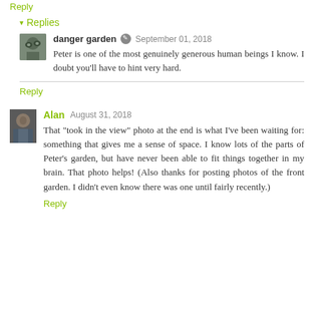Reply
▾ Replies
danger garden ✎ September 01, 2018
Peter is one of the most genuinely generous human beings I know. I doubt you'll have to hint very hard.
Reply
Alan August 31, 2018
That "took in the view" photo at the end is what I've been waiting for: something that gives me a sense of space. I know lots of the parts of Peter's garden, but have never been able to fit things together in my brain. That photo helps! (Also thanks for posting photos of the front garden. I didn't even know there was one until fairly recently.)
Reply